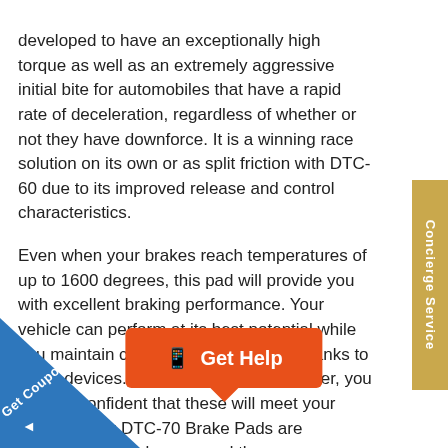developed to have an exceptionally high torque as well as an extremely aggressive initial bite for automobiles that have a rapid rate of deceleration, regardless of whether or not they have downforce. It is a winning race solution on its own or as split friction with DTC-60 due to its improved release and control characteristics.
Even when your brakes reach temperatures of up to 1600 degrees, this pad will provide you with excellent braking performance. Your vehicle can perform at its best potential while you maintain complete control over it thanks to these devices. So, if you're a vehicle racer, you may be confident that these will meet your needs. Hawk DTC-70 Brake Pads are strongly recommend that by a trained and broken in properly. By doing so, you to get the most out of your brakes and